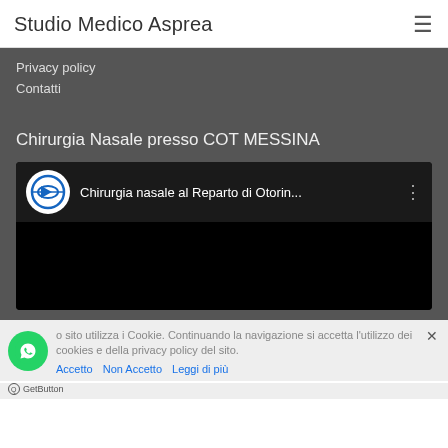Studio Medico Asprea
Privacy policy
Contatti
Chirurgia Nasale presso COT MESSINA
[Figure (screenshot): YouTube video thumbnail showing COT logo (circular blue logo) and text 'Chirurgia nasale al Reparto di Otorin...' on dark background]
o sito utilizza i Cookie. Continuando la navigazione si accetta l'utilizzo dei cookies e della privacy policy del sito.
Accetto   Non Accetto   Leggi di più